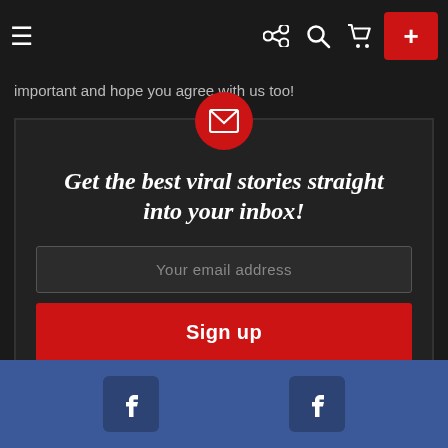Navigation bar with hamburger menu, share, search, cart icons and red plus button
important and hope you agree with us too!
[Figure (screenshot): Email newsletter signup widget with red circle envelope icon, bold italic serif headline 'Get the best viral stories straight into your inbox!', email input field with placeholder 'Your email address', red Sign up button, and 'Don't worry, we don't spam' note]
Blue Facebook footer bar with two Facebook icon boxes